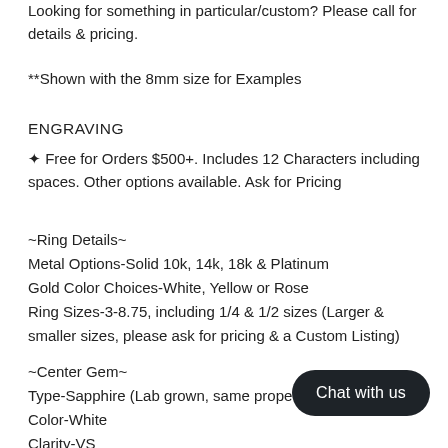Looking for something in particular/custom? Please call for details & pricing.
**Shown with the 8mm size for Examples
ENGRAVING
✦ Free for Orders $500+. Includes 12 Characters including spaces. Other options available. Ask for Pricing
~Ring Details~
Metal Options-Solid 10k, 14k, 18k & Platinum
Gold Color Choices-White, Yellow or Rose
Ring Sizes-3-8.75, including 1/4 & 1/2 sizes (Larger & smaller sizes, please ask for pricing & a Custom Listing)
~Center Gem~
Type-Sapphire (Lab grown, same prope
Color-White
Clarity-VS